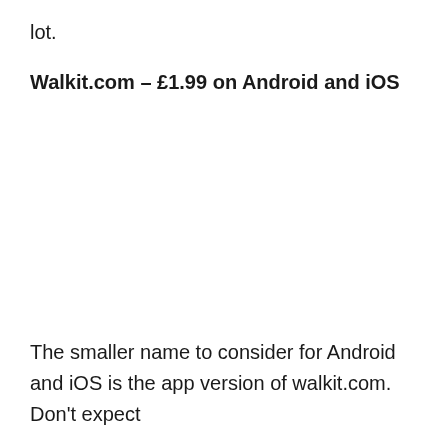lot.
Walkit.com – £1.99 on Android and iOS
The smaller name to consider for Android and iOS is the app version of walkit.com. Don't expect